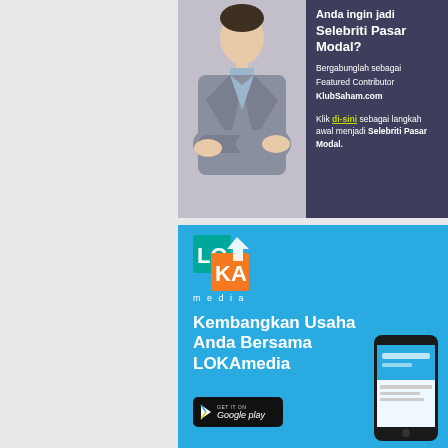[Figure (illustration): Advertisement banner with dark navy/purple background. Left side shows a person in a gray suit with arms crossed. Right side shows text in white: headline 'Anda ingin jadi Selebriti Pasar Modal?', followed by 'Bergabunglah sebagai Featured Contributor KlubSaham.com', then 'Klik di-sini sebagai langkah awal menjadi Selebriti Pasar Modal.']
[Figure (illustration): LOKAmedia advertisement with bright blue background. Shows LOKAmedia logo (LO in teal, KA in orange, 'media' text, with cursor arrow icon). Text: 'Kembangkan Usaha Anda Bersama LOKAmedia'. Google Play badge button. Phone/mobile device image on the right side.]